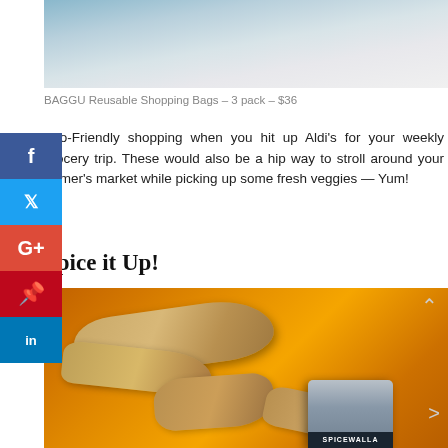[Figure (photo): Top portion of a photo showing BAGGU reusable shopping bags on a white background]
BAGGU Reusable Shopping Bags – 3 pack – $36
Eco-Friendly shopping when you hit up Aldi's for your weekly grocery trip. These would also be a hip way to stroll around your farmer's market while picking up some fresh veggies — Yum!
Spice it Up!
[Figure (photo): Photo of fresh turmeric/ginger root on a bed of orange turmeric powder with a Spicewalla branded tin canister in the foreground]